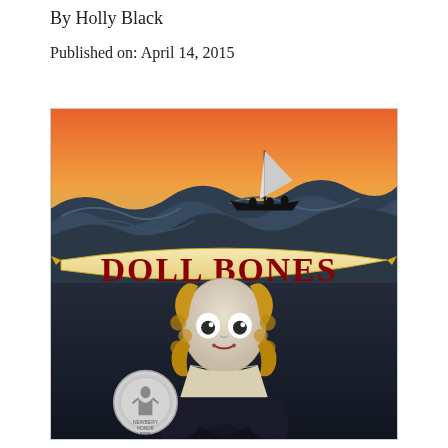By Holly Black
Published on: April 14, 2015
[Figure (illustration): Book cover of 'Doll Bones' by Holly Black. Features a pale, wide-eyed doll girl with golden curly hair against a dark background. A banner reads 'DOLL BONES' in dark red letters on a cream ribbon. Above, stylized dark ocean waves with a small sailboat silhouetted against an orange-to-yellow sky. A Newbery Honor medal is visible in the lower left.]